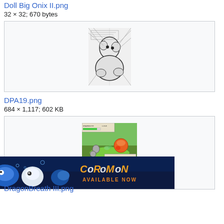Doll Big Onix II.png
32 × 32; 670 bytes
[Figure (illustration): Black and white manga-style illustration showing Pokémon characters]
DPA19.png
684 × 1,117; 602 KB
[Figure (screenshot): Pokémon game screenshot showing ONIX using DRAGONBREATH against a fire-type Pokémon]
[Figure (illustration): Coromon advertisement banner: colorful sea creature characters with text COROMON AVAILABLE NOW]
DragonBreath III.png